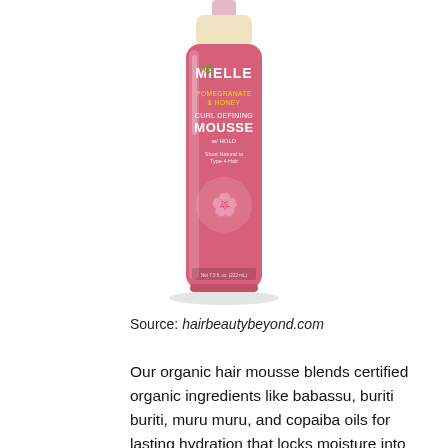[Figure (photo): A pink bottle of Mielle Pomegranate & Honey Curl Defining Mousse with a cream/gold cap, displayed on a white background.]
Source: hairbeautybeyond.com
Our organic hair mousse blends certified organic ingredients like babassu, buriti buriti, muru muru, and copaiba oils for lasting hydration that locks moisture into curls while providing ultimate definition. Conditioner hawaiian ginger scalp treatment twisting souffle curl refresher spray hydrating face mask curl defining mousse leave in